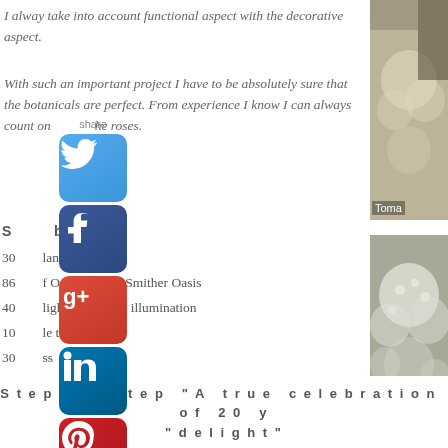I alway take into account functional aspect with the decorative aspect.
With such an important project I have to be absolutely sure that the botanicals are perfect. From experience I know I can always count on the roses.
[Figure (screenshot): Social media share sidebar with Twitter, Facebook, Google+, LinkedIn, Pinterest buttons and a Contact/email button]
Something numbers :
30 Blanche Roses
86 f Oasis Ideal - Smither Oasis
40 lights from MK illumination
10 le ties
30 ss
Height : 6.75 meters
[Figure (photo): Photo of white/cream flowers with 'Toma' label visible]
[Figure (photo): Photo of white clustered flowers]
Step by Step "A true celebration of 20 y delight"